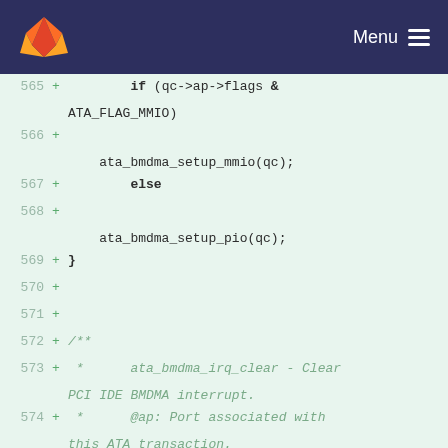GitLab — Menu
[Figure (screenshot): Code diff view showing lines 565-578 of a source file with added lines (marked with +) containing C code for ATA BMDMA setup and documentation comments]
565 +         if (qc->ap->flags & ATA_FLAG_MMIO)
566 +             ata_bmdma_setup_mmio(qc);
567 +         else
568 +             ata_bmdma_setup_pio(qc);
569 + }
570 +
571 +
572 + /**
573 +  *      ata_bmdma_irq_clear - Clear PCI IDE BMDMA interrupt.
574 +  *      @ap: Port associated with this ATA transaction.
575 +  *
576 +  *      Clear interrupt and error flags in DMA status register.
577 +  *
578 +  *      May be used as the